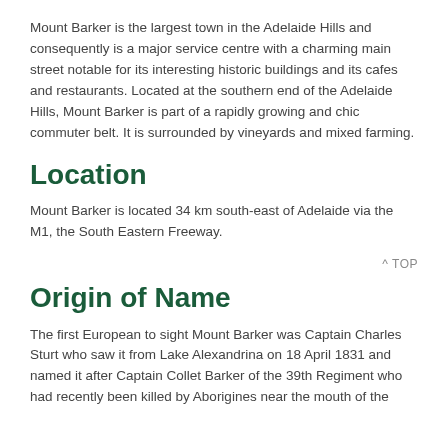Mount Barker is the largest town in the Adelaide Hills and consequently is a major service centre with a charming main street notable for its interesting historic buildings and its cafes and restaurants. Located at the southern end of the Adelaide Hills, Mount Barker is part of a rapidly growing and chic commuter belt. It is surrounded by vineyards and mixed farming.
Location
Mount Barker is located 34 km south-east of Adelaide via the M1, the South Eastern Freeway.
^ TOP
Origin of Name
The first European to sight Mount Barker was Captain Charles Sturt who saw it from Lake Alexandrina on 18 April 1831 and named it after Captain Collet Barker of the 39th Regiment who had recently been killed by Aborigines near the mouth of the